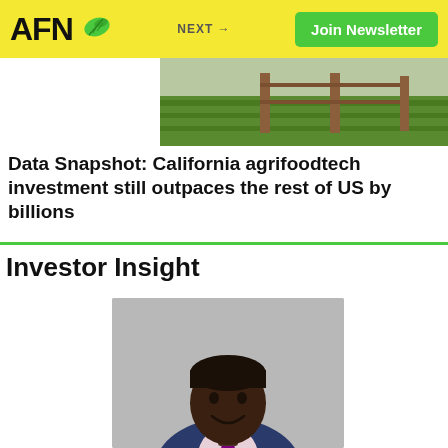AFN | NEXT → | Join Newsletter
[Figure (photo): Farm field photograph with fence posts and green grass]
Data Snapshot: California agrifoodtech investment still outpaces the rest of US by billions
Investor Insight
[Figure (photo): Professional headshot of a smiling man in a navy suit with a purple tie]